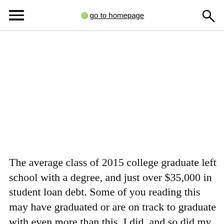go to homepage
[Figure (photo): Large image area, appears blank/white in this view]
The average class of 2015 college graduate left school with a degree, and just over $35,000 in student loan debt. Some of you reading this may have graduated or are on track to graduate with even more than this. I did, and so did my husband